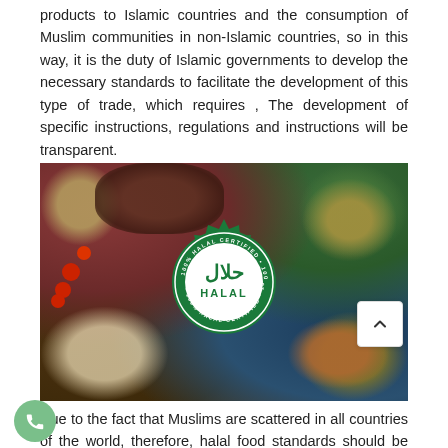products to Islamic countries and the consumption of Muslim communities in non-Islamic countries, so in this way, it is the duty of Islamic governments to develop the necessary standards to facilitate the development of this type of trade, which requires , The development of specific instructions, regulations and instructions will be transparent.
[Figure (photo): A flat-lay photo of various Middle Eastern / halal foods spread on a dark blue table — bowls of hummus, dips, falafel balls, salads, tomatoes, pomegranate, flatbreads, samosas — with a large green circular Halal Certified stamp/logo in the center bearing Arabic script حلال and the word HALAL.]
Due to the fact that Muslims are scattered in all countries of the world, therefore, halal food standards should be designed in a standard way in all fields, and then the centers should be